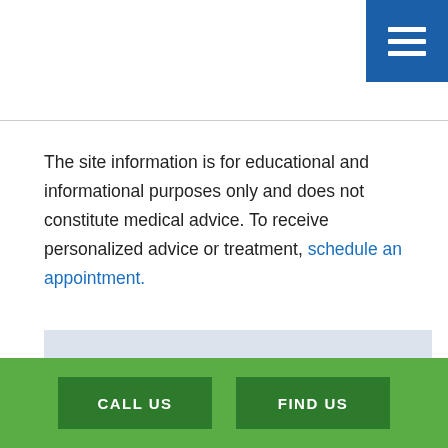[Figure (other): Blue navigation menu button with three horizontal white lines (hamburger icon), positioned top-right corner]
The site information is for educational and informational purposes only and does not constitute medical advice. To receive personalized advice or treatment, schedule an appointment.
Questions?
CALL US  FIND US